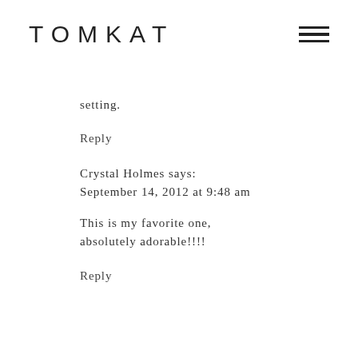TOMKAT
setting.
Reply
Crystal Holmes says:
September 14, 2012 at 9:48 am
This is my favorite one, absolutely adorable!!!!
Reply